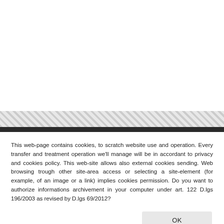[Figure (other): Large blank white area at the top of the page, representing the main content area of a website screenshot]
[Figure (other): Diagonal stripe pattern bar (hatched/crosshatch gray pattern) serving as a visual separator, followed by a dark/black solid bar below it]
This web-page contains cookies, to scratch website use and operation. Every transfer and treatment operation we'll manage will be in accordant to privacy and cookies policy. This web-site allows also external cookies sending. Web browsing trough other site-area access or selecting a site-element (for example, of an image or a link) implies cookies permission. Do you want to authorize informations archivement in your computer under art. 122 D.lgs 196/2003 as revised by D.lgs 69/2012?
OK